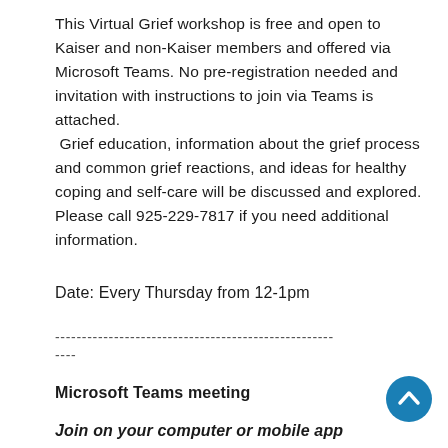This Virtual Grief workshop is free and open to Kaiser and non-Kaiser members and offered via Microsoft Teams. No pre-registration needed and invitation with instructions to join via Teams is attached. Grief education, information about the grief process and common grief reactions, and ideas for healthy coping and self-care will be discussed and explored. Please call 925-229-7817 if you need additional information.
Date: Every Thursday from 12-1pm
------------------------------------------------------------ ----
Microsoft Teams meeting
Join on your computer or mobile app